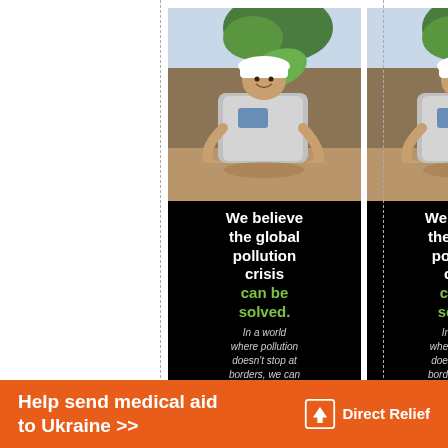[Figure (photo): Two identical bookmark designs side by side. Each bookmark shows a man in a white hard hat and gray vest kneeling on sandy ground, planting a small green sapling. Below the photo on a black background: headline 'We believe the global pollution crisis can be solved.' with 'can be solved.' in green, followed by italic body text 'In a world where pollution doesn't stop at borders, we can all be part of']
We believe the global pollution crisis can be solved. In a world where pollution doesn't stop at borders, we can all be part of
Help send medical aid to Ukraine >> Direct Relief